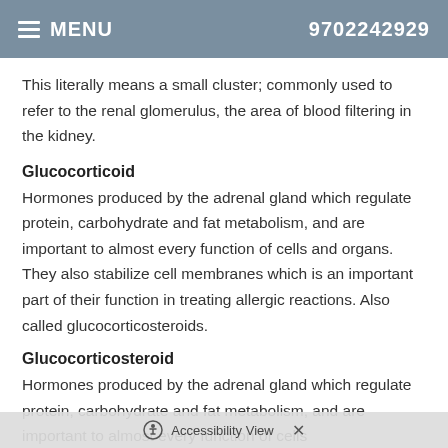MENU  9702242929
This literally means a small cluster; commonly used to refer to the renal glomerulus, the area of blood filtering in the kidney.
Glucocorticoid
Hormones produced by the adrenal gland which regulate protein, carbohydrate and fat metabolism, and are important to almost every function of cells and organs. They also stabilize cell membranes which is an important part of their function in treating allergic reactions. Also called glucocorticosteroids.
Glucocorticosteroid
Hormones produced by the adrenal gland which regulate protein, carbohydrate and fat metabolism, and are important to almost every function of cells